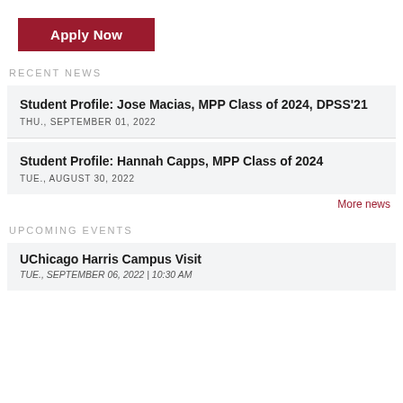[Figure (other): Apply Now button in dark red/maroon color with white bold text]
RECENT NEWS
Student Profile: Jose Macias, MPP Class of 2024, DPSS'21 — THU., SEPTEMBER 01, 2022
Student Profile: Hannah Capps, MPP Class of 2024 — TUE., AUGUST 30, 2022
More news
UPCOMING EVENTS
UChicago Harris Campus Visit — TUE., SEPTEMBER 06, 2022 | 10:30 AM